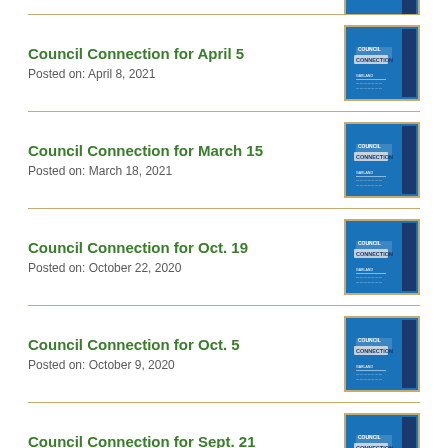Council Connection for April 5
Posted on: April 8, 2021
Council Connection for March 15
Posted on: March 18, 2021
Council Connection for Oct. 19
Posted on: October 22, 2020
Council Connection for Oct. 5
Posted on: October 9, 2020
Council Connection for Sept. 21
Posted on: September 23, 2020